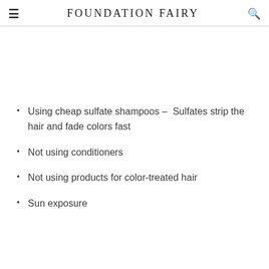FOUNDATION FAIRY
Using cheap sulfate shampoos – Sulfates strip the hair and fade colors fast
Not using conditioners
Not using products for color-treated hair
Sun exposure